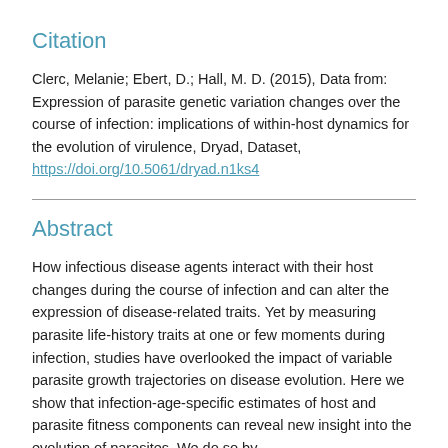Citation
Clerc, Melanie; Ebert, D.; Hall, M. D. (2015), Data from: Expression of parasite genetic variation changes over the course of infection: implications of within-host dynamics for the evolution of virulence, Dryad, Dataset, https://doi.org/10.5061/dryad.n1ks4
Abstract
How infectious disease agents interact with their host changes during the course of infection and can alter the expression of disease-related traits. Yet by measuring parasite life-history traits at one or few moments during infection, studies have overlooked the impact of variable parasite growth trajectories on disease evolution. Here we show that infection-age-specific estimates of host and parasite fitness components can reveal new insight into the evolution of parasites. We do so by